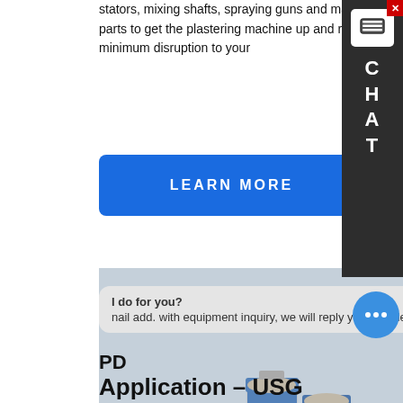stators, mixing shafts, spraying guns and many more small parts to get the plastering machine up and running with the minimum disruption to your
[Figure (other): Chat sidebar widget on the right with close button, message icon, and letters C H A T vertically stacked on dark background]
[Figure (screenshot): Button labelled LEARN MORE in white bold uppercase text on a blue rounded rectangle background]
[Figure (photo): Industrial concrete batching plant facility with multiple tall blue-and-white cylindrical silos, a multi-storey building structure, and cement mixer trucks and tanker trucks parked in front on a dirt yard]
I do for you? nail add. with equipment inquiry, we will reply you with detail.
PD
Application – USG